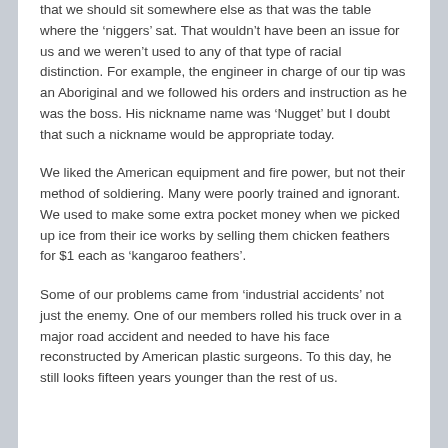that we should sit somewhere else as that was the table where the ‘niggers’ sat. That wouldn’t have been an issue for us and we weren’t used to any of that type of racial distinction. For example, the engineer in charge of our tip was an Aboriginal and we followed his orders and instruction as he was the boss. His nickname name was ‘Nugget’ but I doubt that such a nickname would be appropriate today.
We liked the American equipment and fire power, but not their method of soldiering. Many were poorly trained and ignorant. We used to make some extra pocket money when we picked up ice from their ice works by selling them chicken feathers for $1 each as ‘kangaroo feathers’.
Some of our problems came from ‘industrial accidents’ not just the enemy. One of our members rolled his truck over in a major road accident and needed to have his face reconstructed by American plastic surgeons. To this day, he still looks fifteen years younger than the rest of us.